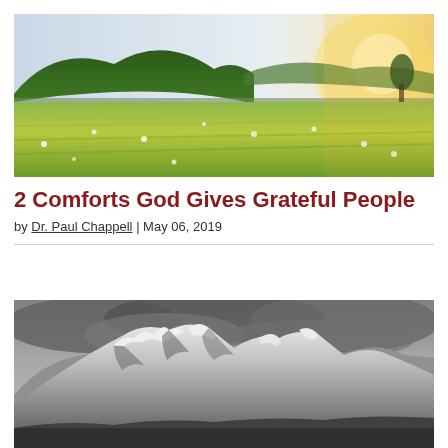[Figure (photo): Sunlit green field with yellow flowering crops in the foreground, forested hills in the background, warm golden sunlight on the right side]
2 Comforts God Gives Grateful People
by Dr. Paul Chappell | May 06, 2019
[Figure (photo): Black and white photograph of dramatic snow-capped mountain peaks with stormy clouds overhead]